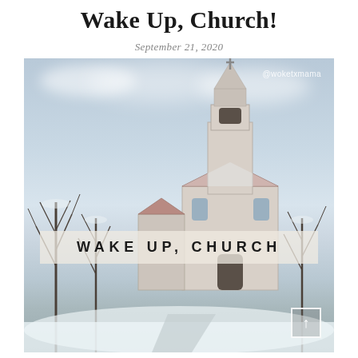Wake Up, Church!
September 21, 2020
[Figure (photo): Winter photo of a white church with a steeple and cross in a snowy landscape with bare trees. Text overlay reads 'WAKE UP, CHURCH' on a semi-transparent beige banner. Watermark '@woketxmama' in upper right. Arrow/scroll button in lower right corner.]